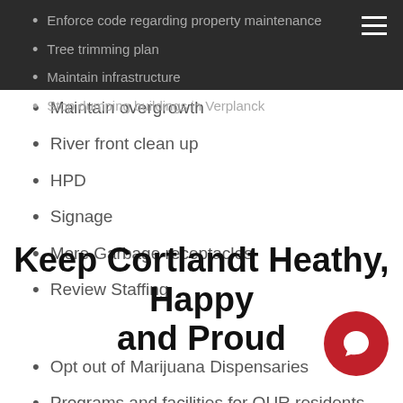Enforce code regarding property maintenance
Tree trimming plan
Maintain infrastructure
Stop dumping buildings in Verplanck
Maintain overgrowth
River front clean up
HPD
Signage
More Garbage receptacles
Review Staffing
Keep Cortlandt Heathy, Happy and Proud
Opt out of Marijuana Dispensaries
Programs and facilities for OUR residents going